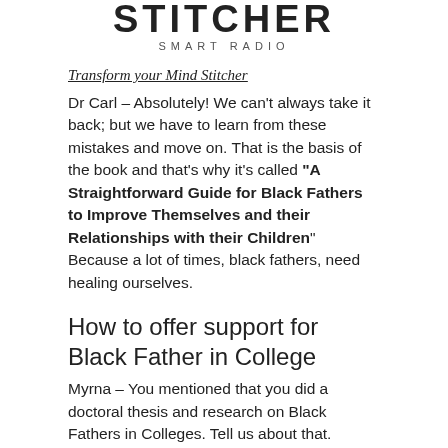STITCHER SMART RADIO
Transform your Mind Stitcher
Dr Carl – Absolutely! We can't always take it back; but we have to learn from these mistakes and move on. That is the basis of the book and that's why it's called "A Straightforward Guide for Black Fathers to Improve Themselves and their Relationships with their Children" Because a lot of times, black fathers, need healing ourselves.
How to offer support for Black Father in College
Myrna – You mentioned that you did a doctoral thesis and research on Black Fathers in Colleges. Tell us about that.